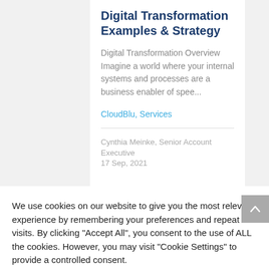Digital Transformation Examples & Strategy
Digital Transformation Overview Imagine a world where your internal systems and processes are a business enabler of spee...
CloudBlu, Services
Cynthia Meinke, Senior Account Executive    17 Sep, 2021
We use cookies on our website to give you the most relevant experience by remembering your preferences and repeat visits. By clicking "Accept All", you consent to the use of ALL the cookies. However, you may visit "Cookie Settings" to provide a controlled consent.